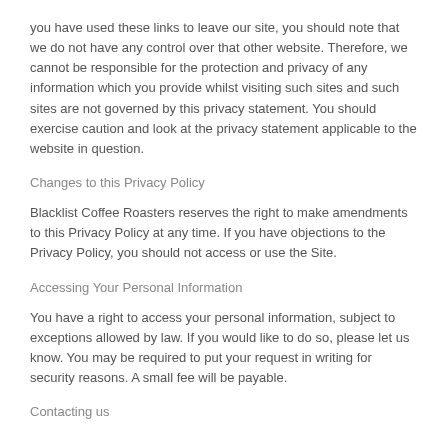you have used these links to leave our site, you should note that we do not have any control over that other website. Therefore, we cannot be responsible for the protection and privacy of any information which you provide whilst visiting such sites and such sites are not governed by this privacy statement. You should exercise caution and look at the privacy statement applicable to the website in question.
Changes to this Privacy Policy
Blacklist Coffee Roasters reserves the right to make amendments to this Privacy Policy at any time. If you have objections to the Privacy Policy, you should not access or use the Site.
Accessing Your Personal Information
You have a right to access your personal information, subject to exceptions allowed by law. If you would like to do so, please let us know. You may be required to put your request in writing for security reasons. A small fee will be payable.
Contacting us